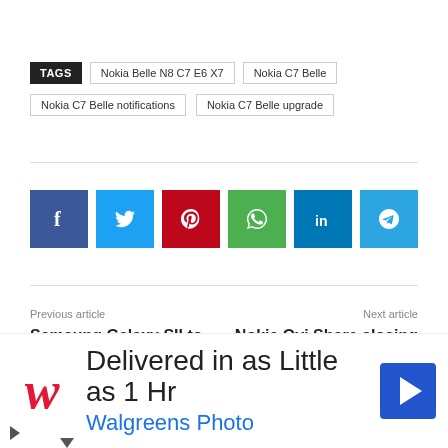TAGS  Nokia Belle N8 C7 E6 X7  Nokia C7 Belle  Nokia C7 Belle notifications  Nokia C7 Belle upgrade
[Figure (infographic): Social share buttons: Facebook (blue), Twitter (light blue), Pinterest (red), WhatsApp (green), LinkedIn (dark blue), Telegram (sky blue)]
Previous article
Samsung Galaxy SII to get ICS from March 15
Next article
Nokia Ovi Share closing on May 30
[Figure (infographic): Advertisement banner: Walgreens Photo - Delivered in as Little as 1 Hr]